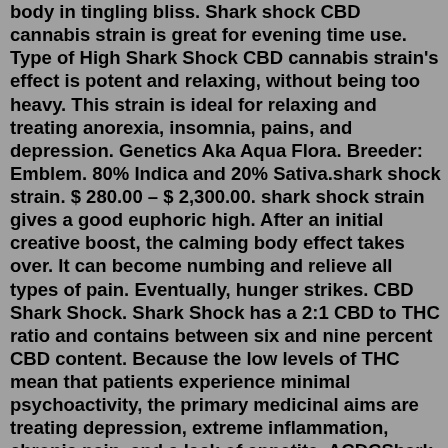body in tingling bliss. Shark shock CBD cannabis strain is great for evening time use. Type of High Shark Shock CBD cannabis strain's effect is potent and relaxing, without being too heavy. This strain is ideal for relaxing and treating anorexia, insomnia, pains, and depression. Genetics Aka Aqua Flora. Breeder: Emblem. 80% Indica and 20% Sativa.shark shock strain. $ 280.00 – $ 2,300.00. shark shock strain gives a good euphoric high. After an initial creative boost, the calming body effect takes over. It can become numbing and relieve all types of pain. Eventually, hunger strikes. CBD Shark Shock. Shark Shock has a 2:1 CBD to THC ratio and contains between six and nine percent CBD content. Because the low levels of THC mean that patients experience minimal psychoactivity, the primary medicinal aims are treating depression, extreme inflammation, chronic pain, and a lack of appetite. ACDCShark Shock is a tropical delight, bursting with juicy aromas of mango and passionfruit. Shark Shock has a rich lineage of Black Widow, Skunk, Afghani, and